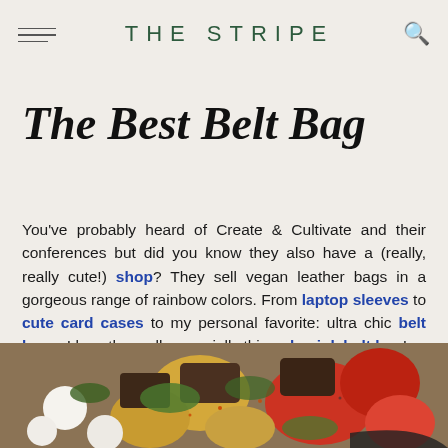THE STRIPE
The Best Belt Bag
You've probably heard of Create & Cultivate and their conferences but did you know they also have a (really, really cute!) shop? They sell vegan leather bags in a gorgeous range of rainbow colors. From laptop sleeves to cute card cases to my personal favorite: ultra chic belt bags. I love them all, especially this pale pink belt bag!
[Figure (photo): Close-up photo of colorful food including tomatoes, mozzarella balls, potatoes, herbs and other vegetables]